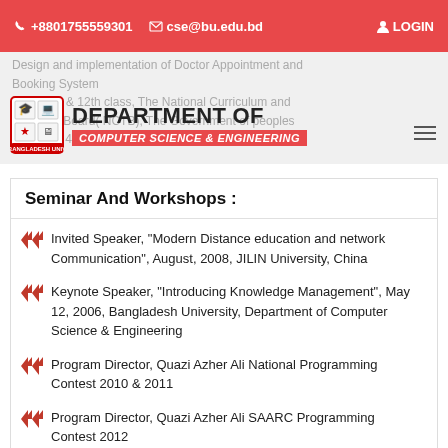+8801755559301  cse@bu.edu.bd  LOGIN
[Figure (logo): Department of Computer Science & Engineering logo with shield emblem]
Seminar And Workshops :
Invited Speaker, “Modern Distance education and network Communication”, August, 2008, JILIN University, China
Keynote Speaker, “Introducing Knowledge Management”, May 12, 2006, Bangladesh University, Department of Computer Science & Engineering
Program Director, Quazi Azher Ali National Programming Contest 2010 & 2011
Program Director, Quazi Azher Ali SAARC Programming Contest 2012